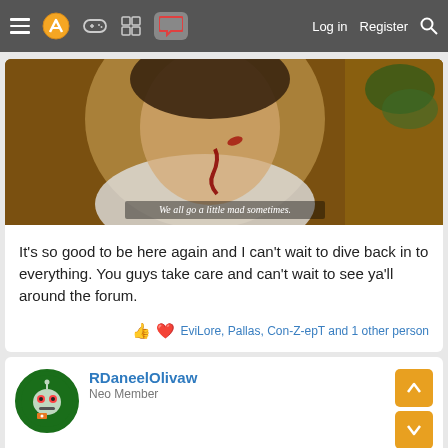Navigation bar with hamburger menu, logo, game controller icon, grid icon, chat icon (active), Log in, Register, Search
[Figure (photo): Movie still showing a young man with blood on his face and hand, with subtitle text 'We all go a little mad sometimes.']
It's so good to be here again and I can't wait to dive back in to everything. You guys take care and can't wait to see ya'll around the forum.
EviLore, Pallas, Con-Z-epT and 1 other person
RDaneelOlivaw
Neo Member
Oct 1, 2021	#4,259